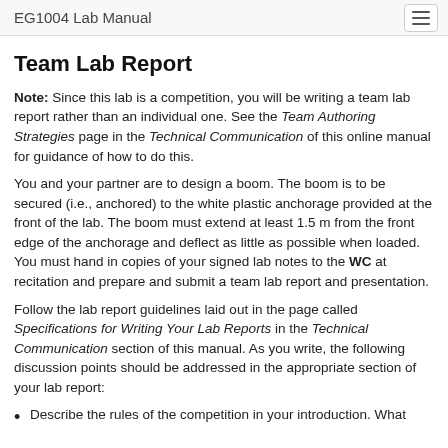EG1004 Lab Manual
Team Lab Report
Note: Since this lab is a competition, you will be writing a team lab report rather than an individual one. See the Team Authoring Strategies page in the Technical Communication of this online manual for guidance of how to do this.
You and your partner are to design a boom. The boom is to be secured (i.e., anchored) to the white plastic anchorage provided at the front of the lab. The boom must extend at least 1.5 m from the front edge of the anchorage and deflect as little as possible when loaded. You must hand in copies of your signed lab notes to the WC at recitation and prepare and submit a team lab report and presentation.
Follow the lab report guidelines laid out in the page called Specifications for Writing Your Lab Reports in the Technical Communication section of this manual. As you write, the following discussion points should be addressed in the appropriate section of your lab report:
Describe the rules of the competition in your introduction. What